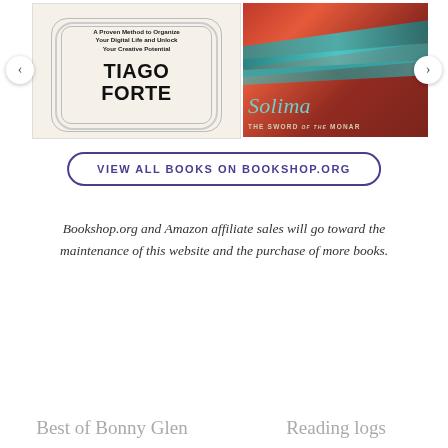[Figure (photo): Book carousel showing two book covers: 'Building a Second Brain' by Tiago Forte (left, cream colored with subtitle 'A Proven Method to Organize Your Digital Life and Unlock Your Creative Potential') and 'Soliman: The Sword of the Monarch' (right, with colorful illustrated cover featuring a woman in a headscarf). Navigation arrows on left and right sides.]
VIEW ALL BOOKS ON BOOKSHOP.ORG
Bookshop.org and Amazon affiliate sales will go toward the maintenance of this website and the purchase of more books.
Best of Bonny Glen
Reading logs